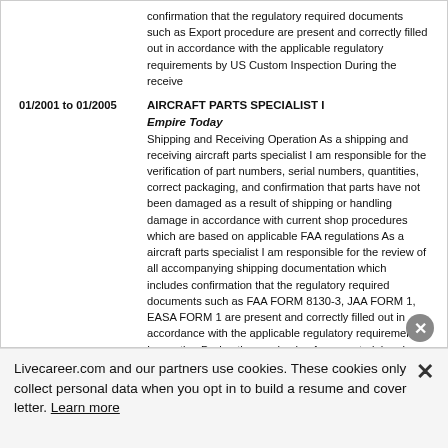confirmation that the regulatory required documents such as Export procedure are present and correctly filled out in accordance with the applicable regulatory requirements by US Custom Inspection During the receive
01/2001 to 01/2005
AIRCRAFT PARTS SPECIALIST I Empire Today Shipping and Receiving Operation As a shipping and receiving aircraft parts specialist I am responsible for the verification of part numbers, serial numbers, quantities, correct packaging, and confirmation that parts have not been damaged as a result of shipping or handling damage in accordance with current shop procedures which are based on applicable FAA regulations As a aircraft parts specialist I am responsible for the review of all accompanying shipping documentation which includes confirmation that the regulatory required documents such as FAA FORM 8130-3, JAA FORM 1, EASA FORM 1 are present and correctly filled out in accordance with the applicable regulatory requirements. Inspection During the receive-in of new material and prior to put away as an aircraft parts
Livecareer.com and our partners use cookies. These cookies only collect personal data when you opt in to build a resume and cover letter. Learn more